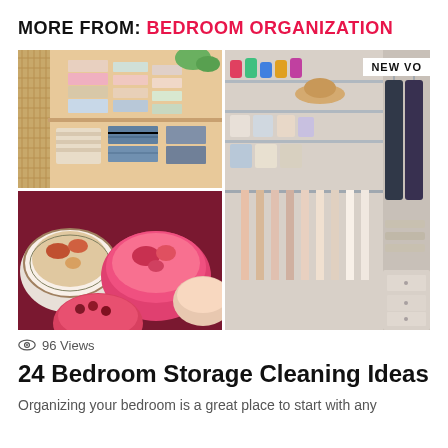MORE FROM: BEDROOM ORGANIZATION
[Figure (photo): Four-panel photo grid: top-left shows neatly folded clothes and linens on shelves in a wooden cabinet; bottom-left shows colorful bowls and plates with food displayed on a dark surface; right side shows an organized closet with wire shelving, hanging clothes, shoes, accessories, and storage boxes. A 'NEW VO' badge appears in the top-right corner of the right image.]
96 Views
24 Bedroom Storage Cleaning Ideas
Organizing your bedroom is a great place to start with any